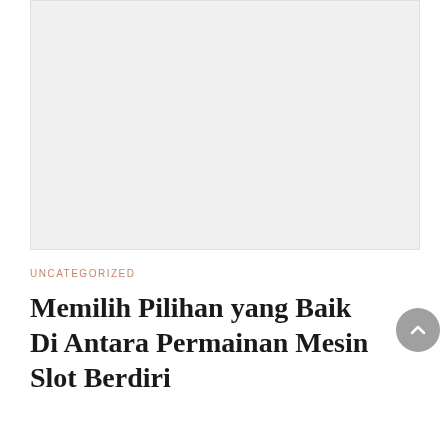[Figure (photo): Gray placeholder image rectangle]
UNCATEGORIZED
Memilih Pilihan yang Baik Di Antara Permainan Mesin Slot Berdiri